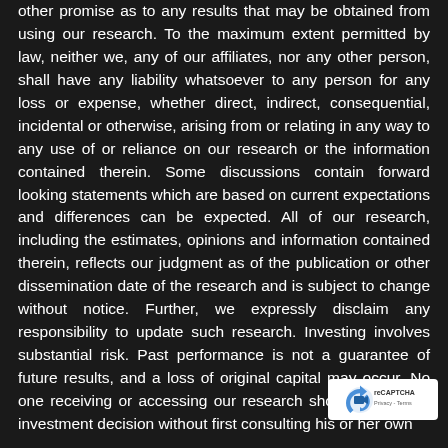other promise as to any results that may be obtained from using our research. To the maximum extent permitted by law, neither we, any of our affiliates, nor any other person, shall have any liability whatsoever to any person for any loss or expense, whether direct, indirect, consequential, incidental or otherwise, arising from or relating in any way to any use of or reliance on our research or the information contained therein. Some discussions contain forward looking statements which are based on current expectations and differences can be expected. All of our research, including the estimates, opinions and information contained therein, reflects our judgment as of the publication or other dissemination date of the research and is subject to change without notice. Further, we expressly disclaim any responsibility to update such research. Investing involves substantial risk. Past performance is not a guarantee of future results, and a loss of original capital may occur. No one receiving or accessing our research should make any investment decision without first consulting his or her own
[Figure (logo): Privacy and reCAPTCHA badge with blue logo icon and Privacy - Terms text]